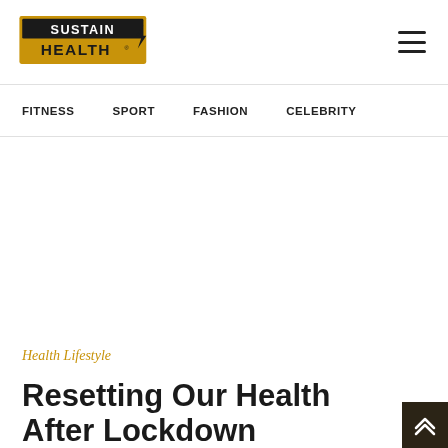SUSTAIN HEALTH
FITNESS   SPORT   FASHION   CELEBRITY
Health Lifestyle
Resetting Our Health After Lockdown